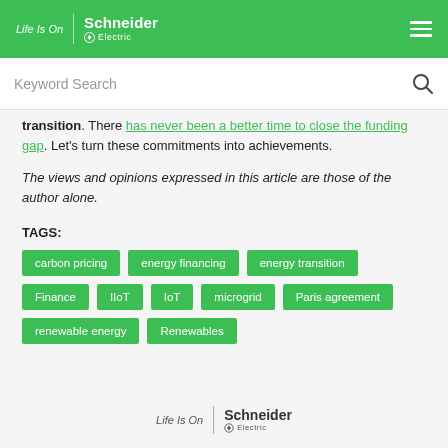Life Is On | Schneider Electric
transition. There has never been a better time to close the funding gap. Let's turn these commitments into achievements.
The views and opinions expressed in this article are those of the author alone.
TAGS:
carbon pricing
energy financing
energy transition
Finance
IIoT
IoT
microgrid
Paris agreement
renewable energy
Renewables
Life Is On | Schneider Electric